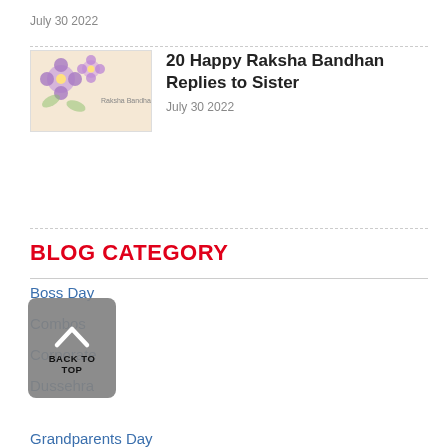July 30 2022
[Figure (illustration): Thumbnail image with floral motif and text, beige/cream background with purple flowers]
20 Happy Raksha Bandhan Replies to Sister
July 30 2022
BLOG CATEGORY
Boss Day
Combos
Corporate
Dussehra
Grandparents Day
Quotes
Tips & Tricks
Teachers Day
Travel